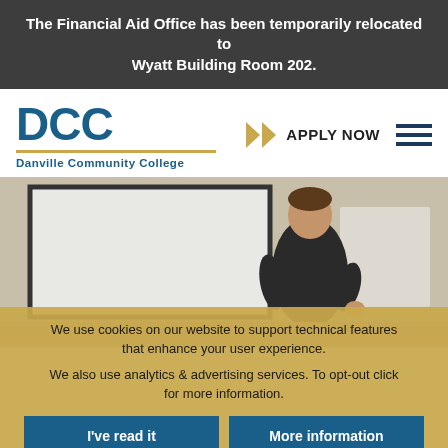The Financial Aid Office has been temporarily relocated to Wyatt Building Room 202.
[Figure (logo): DCC Danville Community College logo with gold underline]
[Figure (photo): A man in a black shirt presenting in front of a projection screen and whiteboard in a classroom setting]
We use cookies on our website to support technical features that enhance your user experience.
We also use analytics & advertising services. To opt-out click for more information.
I've read it
More information